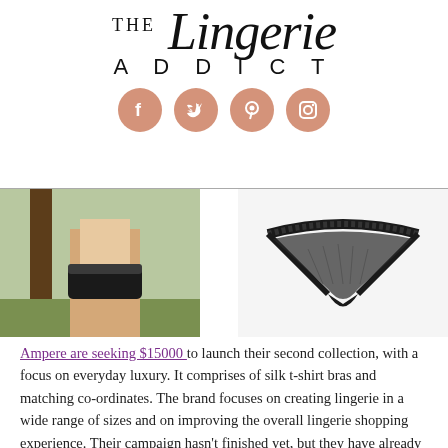THE Lingerie ADDICT — with social icons (Facebook, Twitter, Pinterest, Instagram)
[Figure (photo): Left: photo of woman wearing black lingerie bottoms outdoors. Right: product shot of black lace thong on white background.]
Ampere are seeking $15000 to launch their second collection, with a focus on everyday luxury. It comprises of silk t-shirt bras and matching co-ordinates. The brand focuses on creating lingerie in a wide range of sizes and on improving the overall lingerie shopping experience. Their campaign hasn't finished yet, but they have already gone over their funding goal!
Readers: How do you feel about lingerie brands